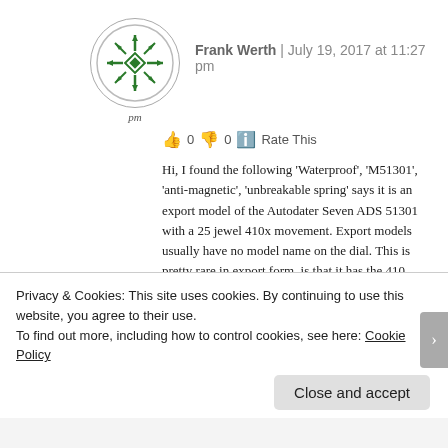[Figure (logo): Green decorative snowflake/cross pattern logo in a circle with 'pm' label below]
Frank Werth | July 19, 2017 at 11:27 pm
👍 0 👎 0 ℹ Rate This
Hi, I found the following 'Waterproof', 'M51301', 'anti-magnetic', 'unbreakable spring' says it is an export model of the Autodater Seven ADS 51301 with a 25 jewel 410x movement. Export models usually have no model name on the dial. This is pretty rare in export form, is that it has the 410 movement
Privacy & Cookies: This site uses cookies. By continuing to use this website, you agree to their use.
To find out more, including how to control cookies, see here: Cookie Policy